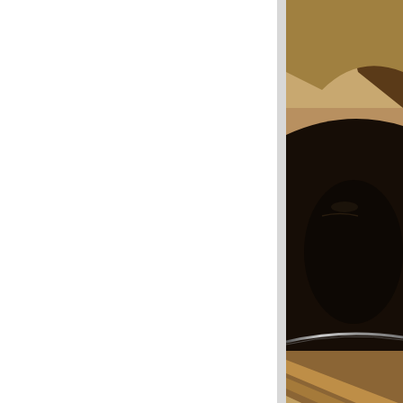[Figure (photo): Close-up photograph of a dark cooking pan or pot with blurred motion streaks suggesting movement, with warm brown and golden tones in the background. The image is cropped and partially visible on the right side of the page.]
I just couldn't peace out for interesting ingredients in eg are delightfully creamy e